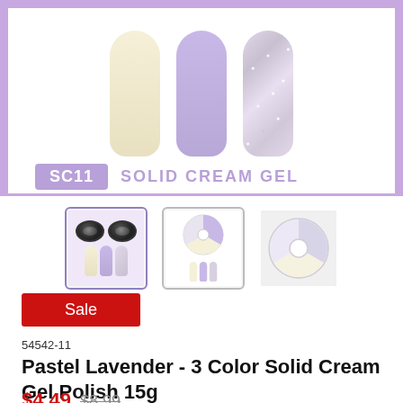[Figure (photo): Product image: three nail swatches (cream, lavender, glitter) on purple background with SC11 SOLID CREAM GEL label]
[Figure (photo): Three product thumbnail images: (1) two black pots and nail swatches, (2) tricolor cream gel circle and nail swatches, (3) tricolor circle only]
Sale
54542-11
Pastel Lavender - 3 Color Solid Cream Gel Polish 15g
$4.49 $8.99
You save: 50% ($4.50)